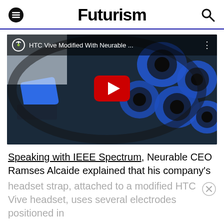Futurism
[Figure (screenshot): YouTube video thumbnail showing HTC Vive Modified With Neurable brain-computer interface headset with blue electrode sensors. Red YouTube play button centered on the image.]
Speaking with IEEE Spectrum, Neurable CEO Ramses Alcaide explained that his company's headset strap, attached to a modified HTC Vive headset, uses several electrodes positioned in